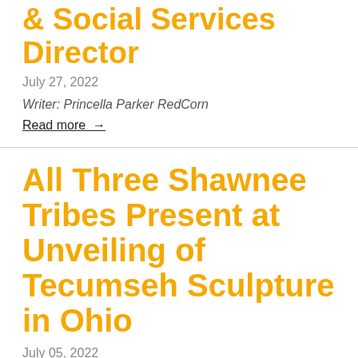& Social Services Director
July 27, 2022
Writer: Princella Parker RedCorn
Read more →
All Three Shawnee Tribes Present at Unveiling of Tecumseh Sculpture in Ohio
July 05, 2022